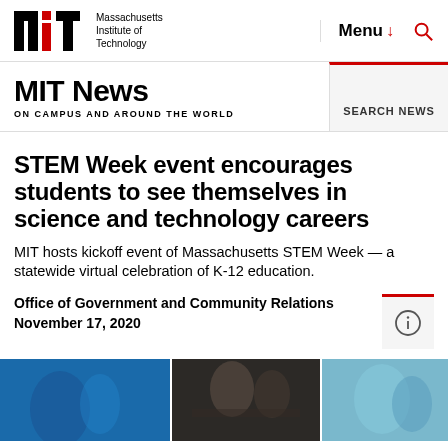MIT — Massachusetts Institute of Technology | Menu | Search
MIT News ON CAMPUS AND AROUND THE WORLD | SEARCH NEWS
STEM Week event encourages students to see themselves in science and technology careers
MIT hosts kickoff event of Massachusetts STEM Week — a statewide virtual celebration of K-12 education.
Office of Government and Community Relations
November 17, 2020
[Figure (photo): Photo strip showing students studying and working, three panels: student with blue background, students at desk, student with teal/blue background]